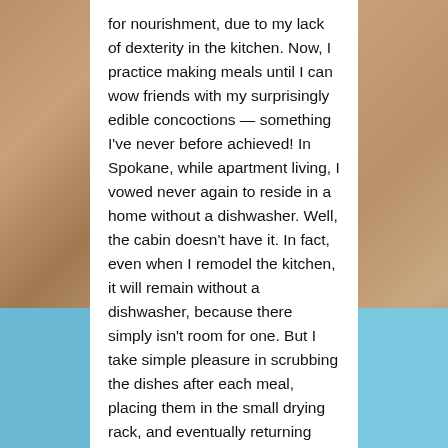for nourishment, due to my lack of dexterity in the kitchen. Now, I practice making meals until I can wow friends with my surprisingly edible concoctions — something I've never before achieved! In Spokane, while apartment living, I vowed never again to reside in a home without a dishwasher. Well, the cabin doesn't have it. In fact, even when I remodel the kitchen, it will remain without a dishwasher, because there simply isn't room for one. But I take simple pleasure in scrubbing the dishes after each meal, placing them in the small drying rack, and eventually returning them to their homes. There's something cathartic about the whole procedure.